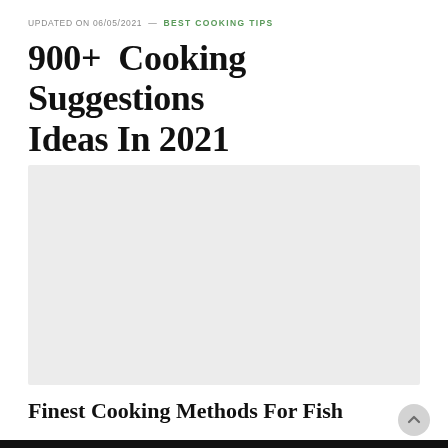UPDATED ON 06/05/2021 — BEST COOKING TIPS
900+ Cooking Suggestions Ideas In 2021
[Figure (other): Large light gray placeholder image rectangle]
Finest Cooking Methods For Fish